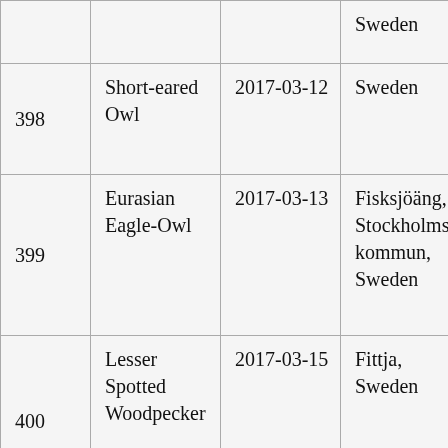| # | Species | Date | Location |
| --- | --- | --- | --- |
|  |  |  | Sweden |
| 398 | Short-eared Owl | 2017-03-12 | Sweden |
| 399 | Eurasian Eagle-Owl | 2017-03-13 | Fisksjöäng, Stockholms kommun, Sweden |
| 400 | Lesser Spotted Woodpecker | 2017-03-15 | Fittja, Sweden |
|  |  |  | Skinnarviksberget, Södermalm |